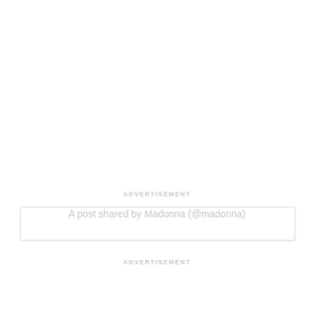ADVERTISEMENT
A post shared by Madonna (@madonna)
ADVERTISEMENT